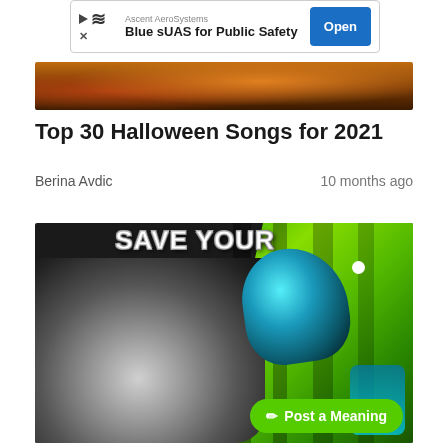[Figure (screenshot): Advertisement banner for Ascent AeroSystems: Blue sUAS for Public Safety with Open button]
[Figure (photo): Dark Halloween-themed hero image with orange pumpkins and warm tones]
Top 30 Halloween Songs for 2021
Berina Avdic    10 months ago
[Figure (illustration): Comic-style illustration for Save Your Tears song with figure holding microphone, green diagonal rays background, and Post a Meaning button]